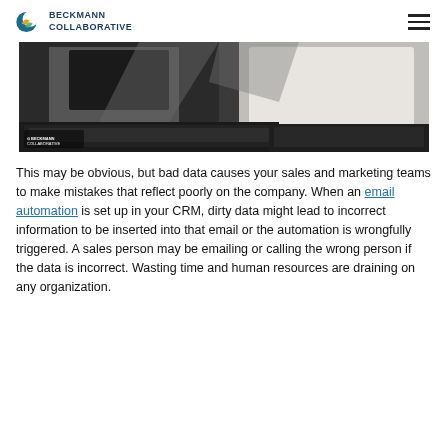BECKMANN COLLABORATIVE
[Figure (photo): Photo of computer monitors and keyboards on a desk, with a Beckmann Collaborative logo watermark in the lower left corner.]
This may be obvious, but bad data causes your sales and marketing teams to make mistakes that reflect poorly on the company. When an email automation is set up in your CRM, dirty data might lead to incorrect information to be inserted into that email or the automation is wrongfully triggered. A sales person may be emailing or calling the wrong person if the data is incorrect. Wasting time and human resources are draining on any organization.